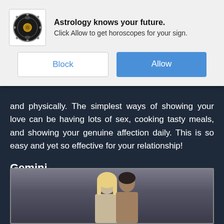[Figure (screenshot): Browser notification popup for 'Astrology knows your future.' with Block and Allow buttons, showing an astrology zodiac wheel icon]
and physically. The simplest ways of showing your love can be having lots of sex, cooking tasty meals, and showing your genuine affection daily. This is so easy and yet so effective for your relationship!
Gemini
May 21 - June 20
[Figure (photo): Photo of a couple, woman with blonde hair in foreground and man behind her, blurred background]